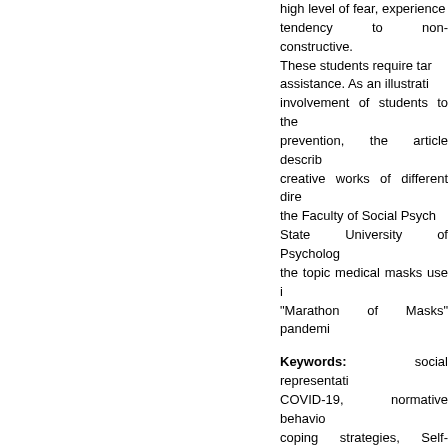high level of fear, experience tendency to non-constructive. These students require targeted assistance. As an illustration of involvement of students to the prevention, the article describes creative works of different directions the Faculty of Social Psychology State University of Psychology the topic medical masks use in "Marathon of Masks" pandemic
Keywords: social representations COVID-19, normative behavior coping strategies, Self-perceived with stress (SFCS), the fear of
Column: Applied Research ar
DOI: https://doi.org/10.17759/s
For Reference
Krushelnitskaya O.B., Marinov A.V., Raskhodchikova M.N., T